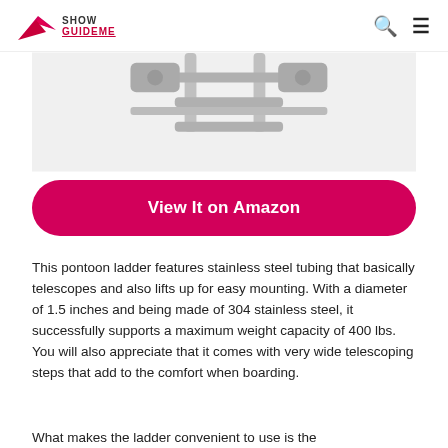Show GuideMe
[Figure (photo): Stainless steel pontoon boat ladder with telescoping steps, shown from above against white background]
View It on Amazon
This pontoon ladder features stainless steel tubing that basically telescopes and also lifts up for easy mounting. With a diameter of 1.5 inches and being made of 304 stainless steel, it successfully supports a maximum weight capacity of 400 lbs. You will also appreciate that it comes with very wide telescoping steps that add to the comfort when boarding.
What makes the ladder convenient to use is the